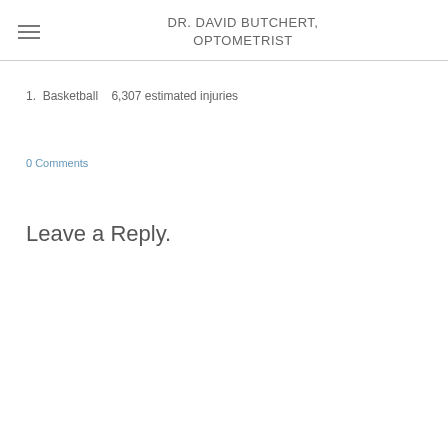DR. DAVID BUTCHERT, OPTOMETRIST
1. Basketball   6,307 estimated injuries
0 Comments
Leave a Reply.